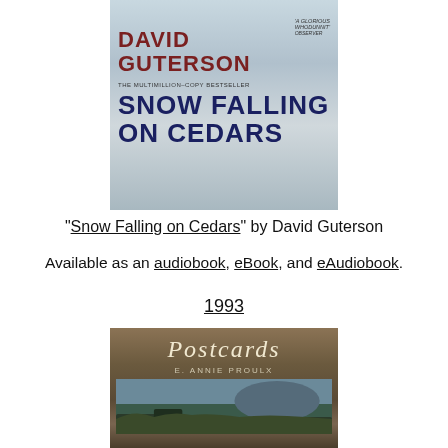[Figure (photo): Book cover of 'Snow Falling on Cedars' by David Guterson. Dark red author name at top, large dark blue title at bottom, with quote 'A Glorious Whodunnit - Observer' and subtitle 'The Multimillion-Copy Bestseller'.]
"Snow Falling on Cedars" by David Guterson
Available as an audiobook, eBook, and eAudiobook.
1993
[Figure (photo): Book cover of 'Postcards' by E. Annie Proulx. Sepia-toned cover with italic title 'Postcards' in cream lettering, author name below, and a landscape scene with trees and hills in the lower portion.]